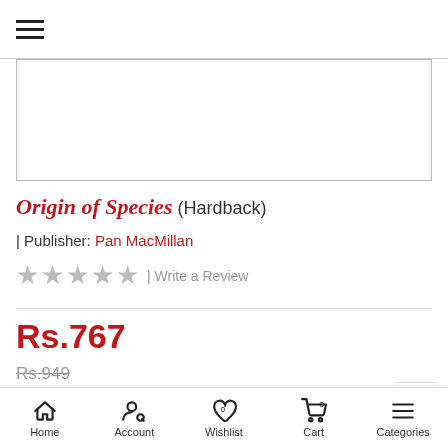☰ (hamburger menu icon)
[Figure (photo): Book cover image placeholder area (white box with border)]
Origin of Species (Hardback)
| Publisher: Pan MacMillan
★ ★ ★ ★ ★ | Write a Review
Rs.767
Rs.949
Out of Stock
Notify me when this book is in stock
Home | Account | Wishlist | Cart | Categories